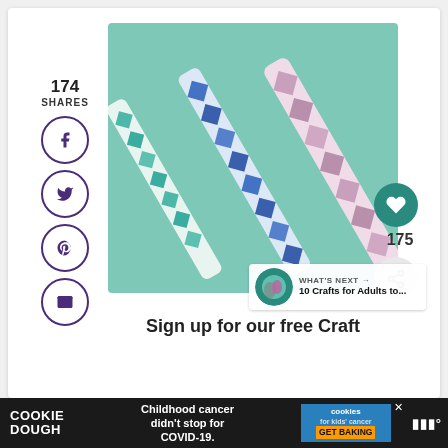174
SHARES
[Figure (photo): Three friendship bracelets with diamond/lattice pattern in teal/white, blue/white, and pink/purple colors on a teal background]
175
WHAT'S NEXT → 10 Crafts for Adults to...
Sign up for our free Craft
[Figure (infographic): Cookie Dough ad banner: 'COOKIE DOUGH' on left, 'Childhood cancer didn't stop for COVID-19.' in center, 'cookies for kids' cancer GET BAKING' on right]